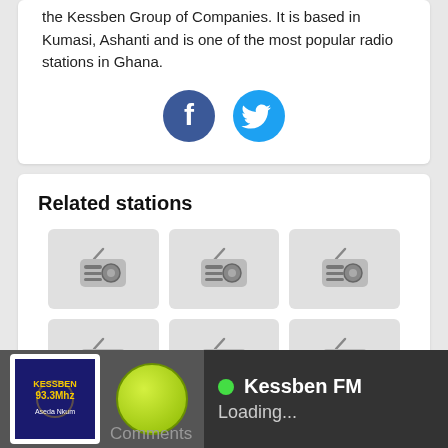the Kessben Group of Companies. It is based in Kumasi, Ashanti and is one of the most popular radio stations in Ghana.
[Figure (infographic): Facebook and Twitter social share icons]
Related stations
[Figure (infographic): Grid of 9 radio station thumbnail placeholders showing generic radio icons on grey backgrounds]
[Figure (screenshot): Bottom media player bar showing Kessben FM logo, green play button, green dot status indicator, station name 'Kessben FM' and 'Loading...' text on dark background]